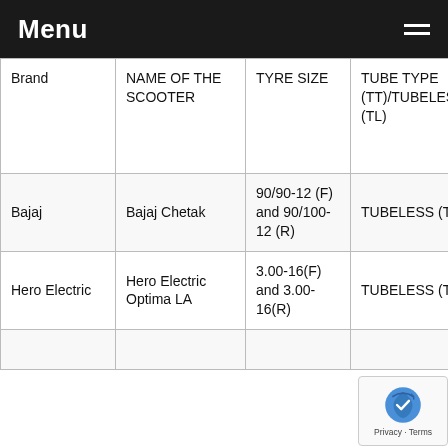Menu
| Brand | NAME OF THE SCOOTER | TYRE SIZE | TUBE TYPE (TT)/TUBELESS (TL) | RECOMMENDED TYRE PRESSURE – FRONT (F) AND REAR (R) SO... |
| --- | --- | --- | --- | --- |
| Bajaj | Bajaj Chetak | 90/90-12 (F) and 90/100-12 (R) | TUBELESS (TL) | 22 PSI (F) & 2... PSI (R) |
| Hero Electric | Hero Electric Optima LA | 3.00-16(F) and 3.00-16(R) | TUBELESS (TL) | — |